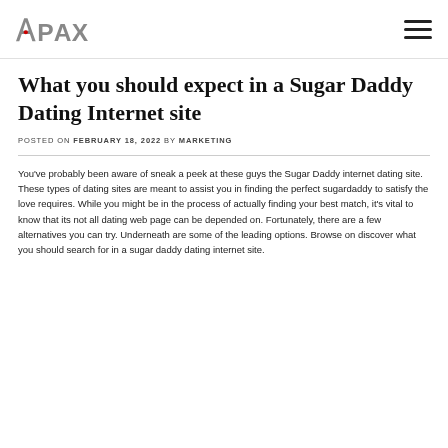APAX [logo] | hamburger menu
What you should expect in a Sugar Daddy Dating Internet site
POSTED ON FEBRUARY 18, 2022 BY MARKETING
You’ve probably been aware of sneak a peek at these guys the Sugar Daddy internet dating site. These types of dating sites are meant to assist you in finding the perfect sugardaddy to satisfy the love requires. While you might be in the process of actually finding your best match, it’s vital to know that its not all dating web page can be depended on. Fortunately, there are a few alternatives you can try. Underneath are some of the leading options. Browse on discover what you should search for in a sugar daddy dating internet site.